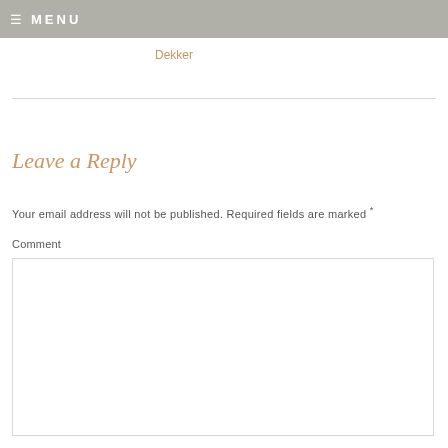≡ MENU
Dekker
Leave a Reply
Your email address will not be published. Required fields are marked *
Comment